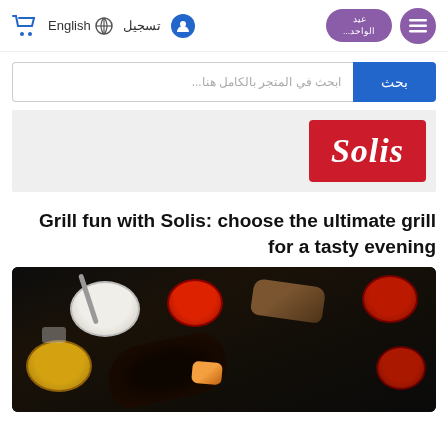English | تسجيل | عيد الواحد
[Figure (screenshot): Search bar with blue search button labeled بحث and input placeholder ابحث في المتجر بالكامل هنا]
[Figure (logo): Solis brand logo in white italic script on red background]
Grill fun with Solis: choose the ultimate grill for a tasty evening
[Figure (photo): Overhead photo of grilled food including dark grilled vegetables, bread, and multiple bowls of dipping sauces (white, red, yellow) on a dark wooden surface]